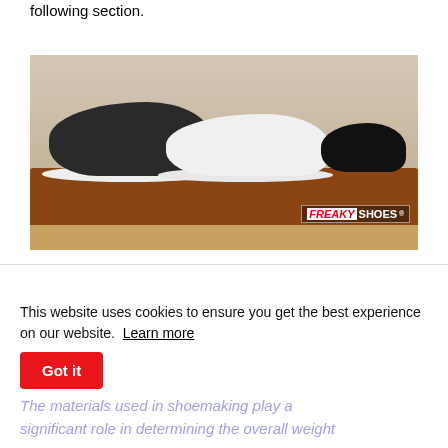following section.
[Figure (photo): Three pairs of shoes on a brown doormat: a dark leather sneaker on the left, white sneakers in the middle, and small black baby shoes on the right. A 'FREAKY SHOES' logo is visible in the bottom-right corner of the image.]
This website uses cookies to ensure you get the best experience on our website.  Learn more
The materials used in shoemaking play a significant role in determining the overall weight